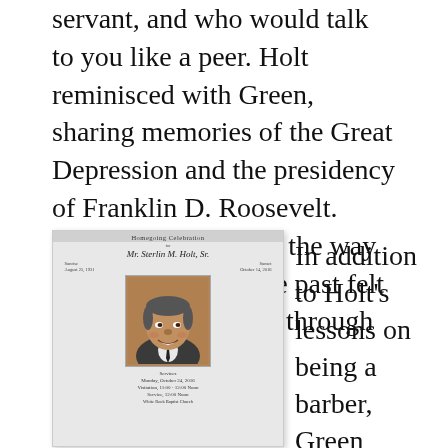servant, and who would talk to you like a peer. Holt reminisced with Green, sharing memories of the Great Depression and the presidency of Franklin D. Roosevelt. According to Green, the way Holt talked about the past felt as if history came in through the front door.
[Figure (photo): A funeral program card for Mr. Sterlin M. Holt, Sr. titled 'Homegoing Celebration' with dates August 25, 1931 and October 14, 2016. Shows a portrait photo of an elderly Black man smiling, wearing a suit. Lists services: Monday, October 24, 2016, Visitation 11:00-12:00 Noon, Service 12:00 Noon, White Rock Baptist Church.]
In addition to Holt's lessons on being a barber, Green keeps the stories about Mr. Holt and the DeLu...